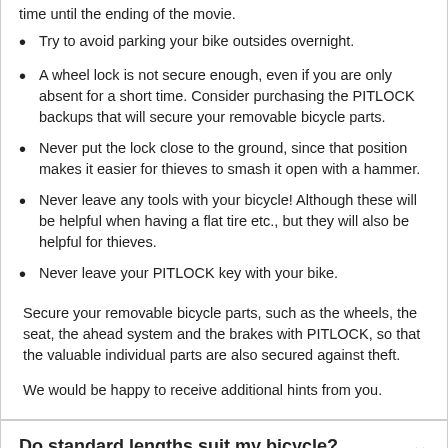time until the ending of the movie.
Try to avoid parking your bike outsides overnight.
A wheel lock is not secure enough, even if you are only absent for a short time. Consider purchasing the PITLOCK backups that will secure your removable bicycle parts.
Never put the lock close to the ground, since that position makes it easier for thieves to smash it open with a hammer.
Never leave any tools with your bicycle! Although these will be helpful when having a flat tire etc., but they will also be helpful for thieves.
Never leave your PITLOCK key with your bike.
Secure your removable bicycle parts, such as the wheels, the seat, the ahead system and the brakes with PITLOCK, so that the valuable individual parts are also secured against theft.
We would be happy to receive additional hints from you.
Do standard lengths suit my bicycle?